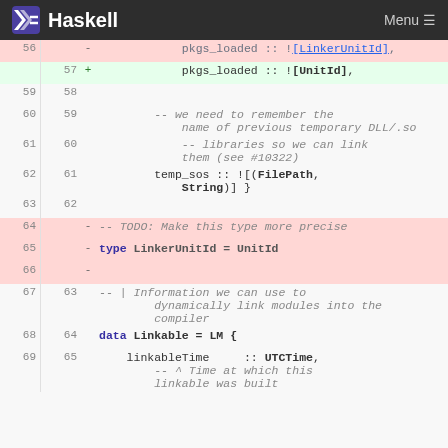Haskell — Menu
[Figure (screenshot): A code diff view showing Haskell source code changes, with line numbers on left (old and new), deletion rows in pink and addition rows in green. Lines 56-69 old / 57-65 new are shown, involving LinkerUnitId type alias removal and Linkable data type definition.]